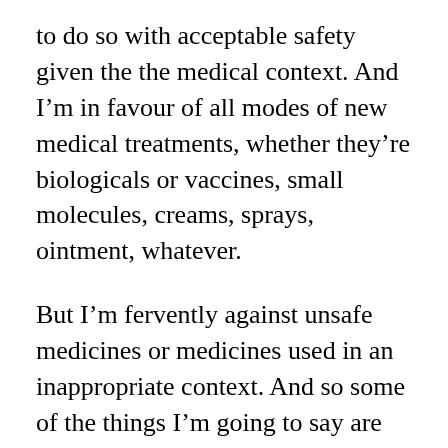to do so with acceptable safety given the the medical context. And I'm in favour of all modes of new medical treatments, whether they're biologicals or vaccines, small molecules, creams, sprays, ointment, whatever.
But I'm fervently against unsafe medicines or medicines used in an inappropriate context. And so some of the things I'm going to say are not favourable to the current crop of gene based vaccines, and it's for that reason that they're being inappropriately used, and I don't think they have a sufficient safety profile to be used as